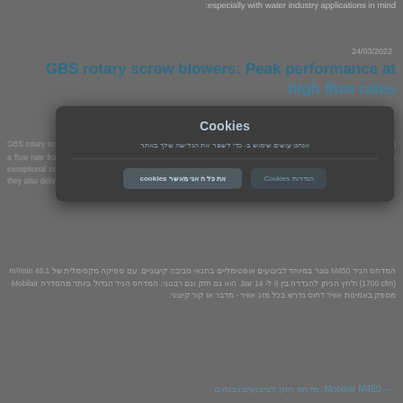especially with water industry applications in mind
24/03/2022
GBS rotary screw blowers: Peak performance at high flow rates
Cookies
אנחנו עושים שימוש ב- כדי לשפר את הגלישה שלך באתר
GBS rotary screw blowers set a new benchmark in compressor technology for the 75 to 160 kW power range, with a flow rate from 22 to 104 m³/min and differential pressures up to 1100 mbar. These machines not only feature exceptional control characteristics, quiet operation, an optimised footprint and low maintenance requirements – they also deliver consistently high efficiency across the entire control range.
המדחס הניד M450 נוצר במיוחד לביצועים אופטימליים בתנאי סביבה קיצוניים. עם ספיקה מקסימלית של 48.1 m³/min (1700 cfm) ולחץ הניתן להגדרה בין 6 ל- 14 bar, הוא גם חזק וגם רבגוני. המדחס הניד הגדול ביותר מהסדרה Mobilair מספק באמינות אוויר דחוס נדרש בכל מזג אוויר - מדבר או קור קיצוני.
← Mobilair M450: מדחס חזק לביצועים גבוהים